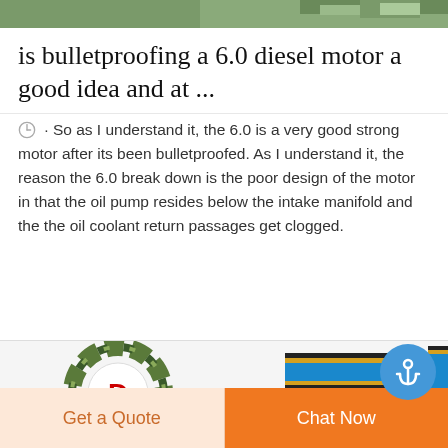[Figure (photo): Partial image strip at top of page, showing green/outdoor scene]
is bulletproofing a 6.0 diesel motor a good idea and at ...
So as I understand it, the 6.0 is a very good strong motor after its been bulletproofed. As I understand it, the reason the 6.0 break down is the poor design of the motor in that the oil pump resides below the intake manifold and the the oil coolant return passages get clogged.
[Figure (logo): DEEKON logo with camouflage circular emblem and red text DEEKON, alongside military ribbon/medal bar images in blue, black and gold colors]
Get a Quote
Chat Now